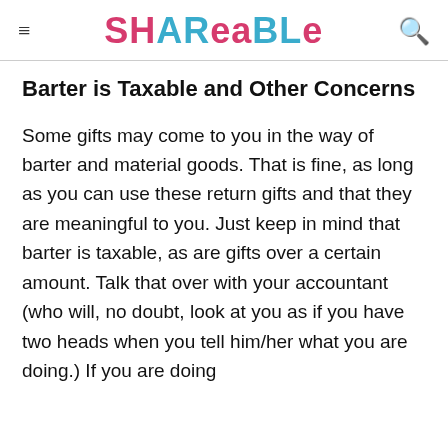SHAREABLE
Barter is Taxable and Other Concerns
Some gifts may come to you in the way of barter and material goods. That is fine, as long as you can use these return gifts and that they are meaningful to you. Just keep in mind that barter is taxable, as are gifts over a certain amount. Talk that over with your accountant (who will, no doubt, look at you as if you have two heads when you tell him/her what you are doing.) If you are doing